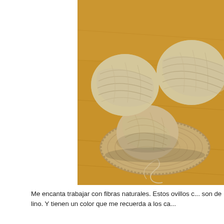[Figure (photo): Three balls of natural linen/beige yarn resting on a crocheted circular mat on a wooden surface. The yarn is cream/tan colored with a natural fiber texture.]
Me encanta trabajar con fibras naturales. Estos ovillos c... son de lino. Y tienen un color que me recuerda a los ca...